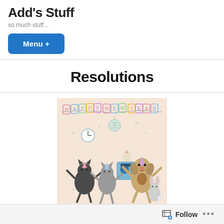Add's Stuff
so much stuff...
Menu +
Resolutions
[Figure (illustration): Happy New Year illustration with cartoon animals (two cats, a dog, a rabbit, a bird) dancing and celebrating under a Happy New Year banner with disco ball, clock, music notes, and a boombox. Pastel/cream background.]
Follow ...